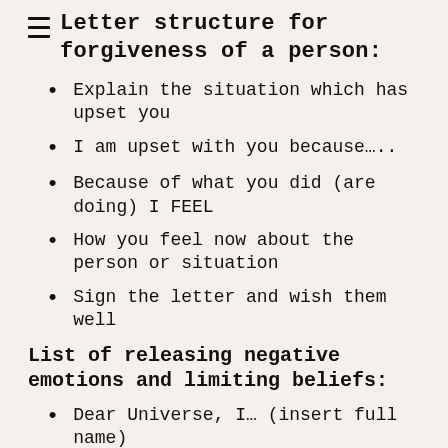Letter structure for forgiveness of a person:
Explain the situation which has upset you
I am upset with you because….
Because of what you did (are doing) I FEEL
How you feel now about the person or situation
Sign the letter and wish them well
List of releasing negative emotions and limiting beliefs:
Dear Universe, I…  (insert full name)